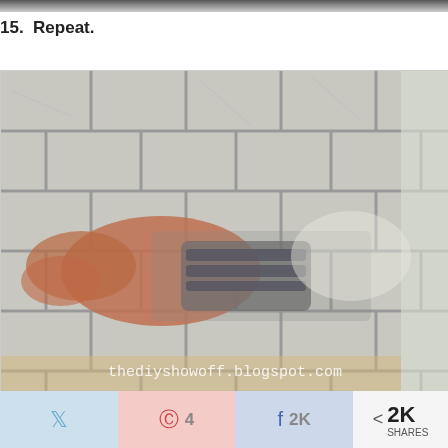[Figure (photo): Partial top strip of a previous photo visible at very top of page]
15.  Repeat.
[Figure (photo): Blurry photo of a hand scrubbing or sanding marble/stone tile wall in a shower, with watermark 'thediyshowoff.blogspot.com' at the bottom]
thediyshowoff.blogspot.com
Twitter share button | Pinterest 4 | Facebook 2K shares | < 2K SHARES